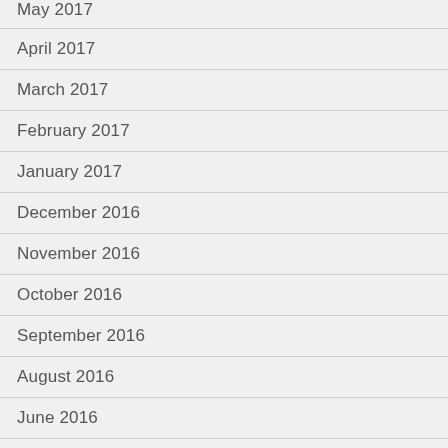May 2017
April 2017
March 2017
February 2017
January 2017
December 2016
November 2016
October 2016
September 2016
August 2016
June 2016